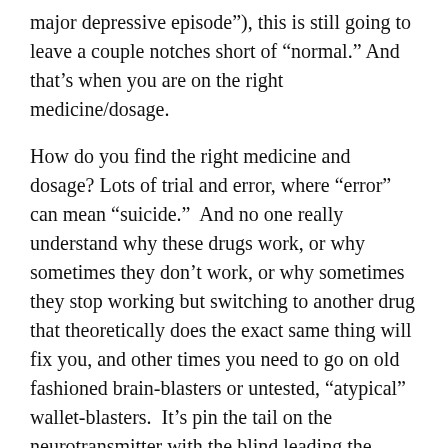major depressive episode"), this is still going to leave a couple notches short of “normal.” And that’s when you are on the right medicine/dosage.
How do you find the right medicine and dosage? Lots of trial and error, where “error” can mean “suicide.”  And no one really understand why these drugs work, or why sometimes they don’t work, or why sometimes they stop working but switching to another drug that theoretically does the exact same thing will fix you, and other times you need to go on old fashioned brain-blasters or untested, “atypical” wallet-blasters.  It’s pin the tail on the neurotransmitter with the blind leading the fucking blind.
So when you find a drug that is “good enough,” it can be hard to try something new, even when you’re unsatisfied with the results.  I’ve been on Prozac for almost a year, and I’ve been thinking about switching for about as long.  It’s effective, but not as effective as I want it to be (it’s not like